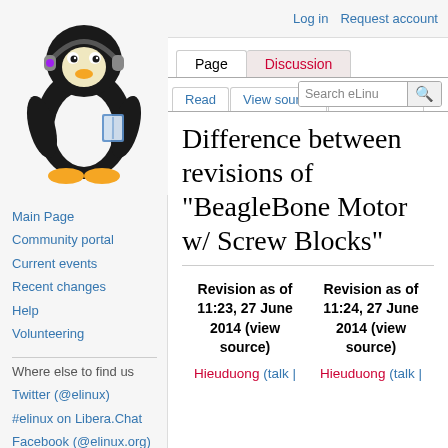Log in  Request account
[Figure (illustration): Linux Tux penguin mascot with headphones holding a book, eLinux wiki logo]
Main Page
Community portal
Current events
Recent changes
Help
Volunteering
Where else to find us
Twitter (@elinux)
#elinux on Libera.Chat
Facebook (@elinux.org)
Mailing Lists
Matrix
Difference between revisions of "BeagleBone Motor w/ Screw Blocks"
| Revision as of 11:23, 27 June 2014 (view source) | Revision as of 11:24, 27 June 2014 (view source) |
| --- | --- |
| Hieuduong (talk | | Hieuduong (talk | |